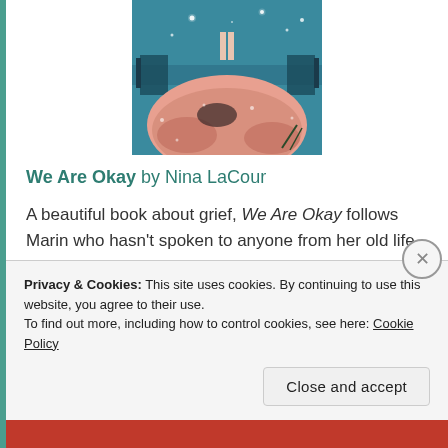[Figure (illustration): Book cover illustration for 'We Are Okay' showing a figure standing on a dock at night with a teal/blue sky and pink/salmon colored foreground rocks and bedding]
We Are Okay by Nina LaCour
A beautiful book about grief, We Are Okay follows Marin who hasn't spoken to anyone from her old life since she moved to university. But her best friend, Mabel, has had enough and is coming to visit. This is such a soft, touching book about friendship,
Privacy & Cookies: This site uses cookies. By continuing to use this website, you agree to their use.
To find out more, including how to control cookies, see here: Cookie Policy
Close and accept